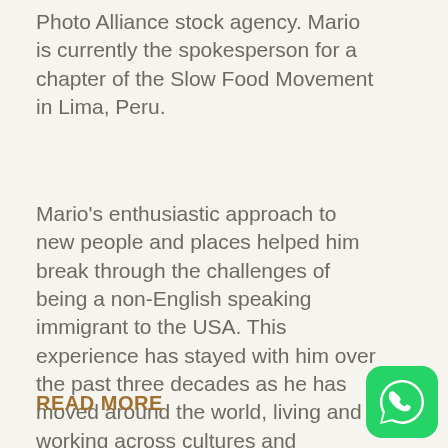Photo Alliance stock agency. Mario is currently the spokesperson for a chapter of the Slow Food Movement in Lima, Peru.
Mario's enthusiastic approach to new people and places helped him break through the challenges of being a non-English speaking immigrant to the USA. This experience has stayed with him over the past three decades as he has moved around the world, living and working across cultures and borders, but always finding a way to communicate in Spanish, English, Italian, French and photography.
READ MORE
[Figure (logo): WhatsApp logo — green rounded square icon with white phone handset in speech bubble]